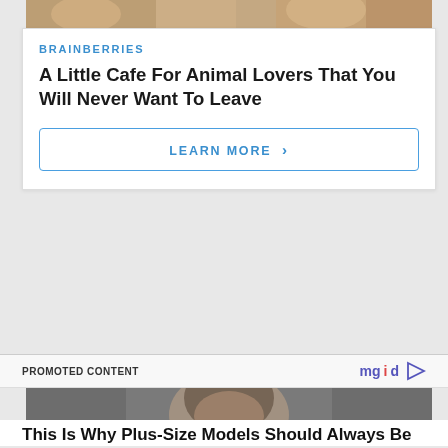[Figure (photo): Top portion of an animal cafe image showing cats or animals, partially cropped at top of page]
BRAINBERRIES
A Little Cafe For Animal Lovers That You Will Never Want To Leave
LEARN MORE >
PROMOTED CONTENT
mgid
[Figure (photo): Portrait photo of a young woman with long wavy dark brown hair and blue-green eyes against a gray background]
This Is Why Plus-Size Models Should Always Be